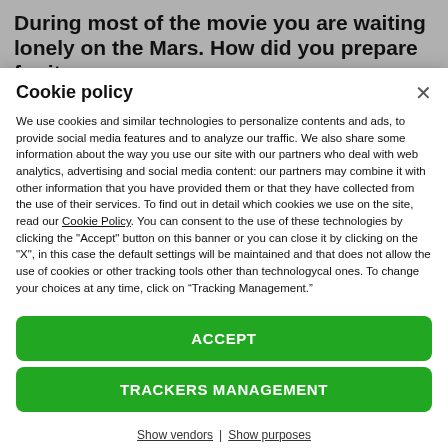During most of the movie you are waiting lonely on the Mars. How did you prepare for it
Cookie policy
We use cookies and similar technologies to personalize contents and ads, to provide social media features and to analyze our traffic. We also share some information about the way you use our site with our partners who deal with web analytics, advertising and social media content: our partners may combine it with other information that you have provided them or that they have collected from the use of their services. To find out in detail which cookies we use on the site, read our Cookie Policy. You can consent to the use of these technologies by clicking the "Accept" button on this banner or you can close it by clicking on the "X", in this case the default settings will be maintained and that does not allow the use of cookies or other tracking tools other than technologycal ones. To change your choices at any time, click on “Tracking Management.”
ACCEPT
TRACKERS MANAGEMENT
Show vendors | Show purposes